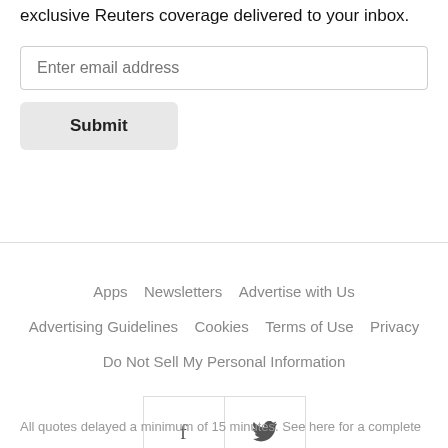exclusive Reuters coverage delivered to your inbox.
Enter email address
Submit
Apps   Newsletters   Advertise with Us   Advertising Guidelines   Cookies   Terms of Use   Privacy   Do Not Sell My Personal Information
[Figure (other): Social media icons: Facebook (f) and Twitter (bird) in bordered boxes]
All quotes delayed a minimum of 15 minutes. See here for a complete